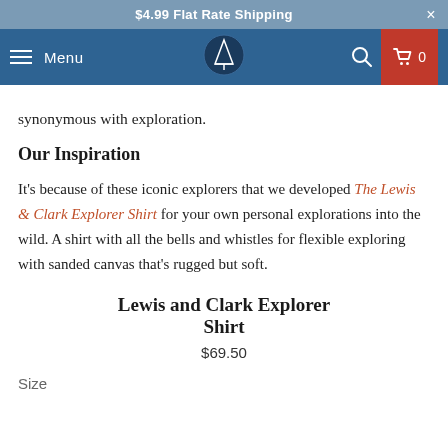$4.99 Flat Rate Shipping
Menu | [logo] | [search] | 0
synonymous with exploration.
Our Inspiration
It's because of these iconic explorers that we developed The Lewis & Clark Explorer Shirt for your own personal explorations into the wild. A shirt with all the bells and whistles for flexible exploring with sanded canvas that's rugged but soft.
Lewis and Clark Explorer Shirt
$69.50
Size